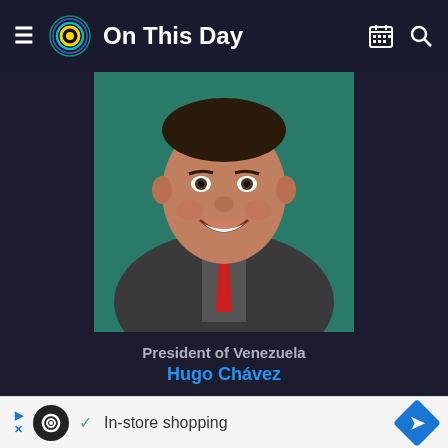On This Day
[Figure (photo): Photo of Hugo Chávez, President of Venezuela, smiling, wearing a dark suit with a red tie, with a teal/green background]
President of Venezuela
Hugo Chávez
Oct 8 Mustafa A.G. Abushagur, the first elected Libyan Prime Minister, is voted out of office by the Libyan parliament
[Figure (infographic): Advertisement banner: In-store shopping ad with circular logo, checkmark, navigation arrow icon]